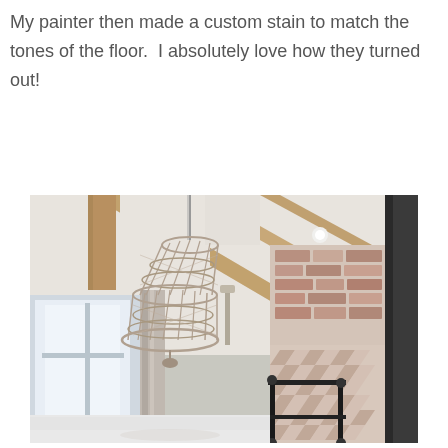My painter then made a custom stain to match the tones of the floor. I absolutely love how they turned out!
[Figure (photo): Interior room photo showing a woven rope chandelier hanging from a vaulted ceiling with exposed wood beams. A brick or tile accent wall is visible on the right side with a herringbone/chevron pattern in the lower portion. A black metal bed frame is partially visible in the foreground. A large window with drapes is on the left. The bottom of the image shows a reflective white floor surface.]